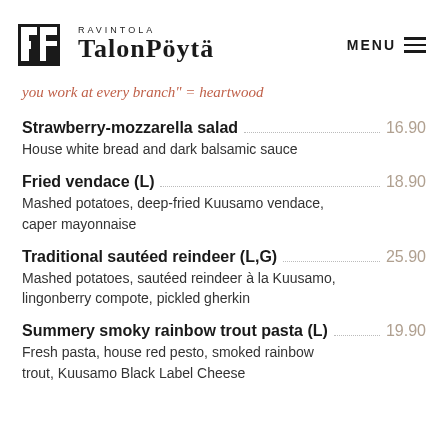Ravintola Talonpöytä — MENU
you work at every branch" = heartwood
Strawberry-mozzarella salad — 16.90
House white bread and dark balsamic sauce
Fried vendace (L) — 18.90
Mashed potatoes, deep-fried Kuusamo vendace, caper mayonnaise
Traditional sautéed reindeer (L,G) — 25.90
Mashed potatoes, sautéed reindeer à la Kuusamo, lingonberry compote, pickled gherkin
Summery smoky rainbow trout pasta (L) — 19.90
Fresh pasta, house red pesto, smoked rainbow trout, Kuusamo Black Label Cheese